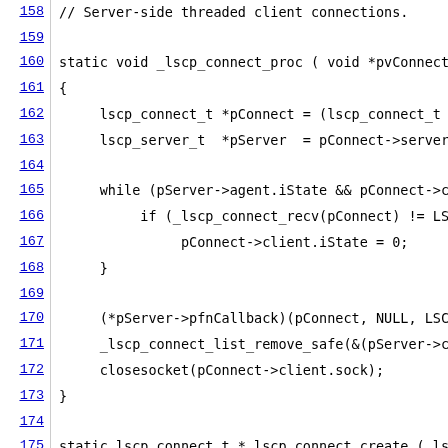[Figure (screenshot): Source code listing showing C code for server-side threaded client connections, lines 158-180, with blue hyperlinked line numbers and monospace code text.]